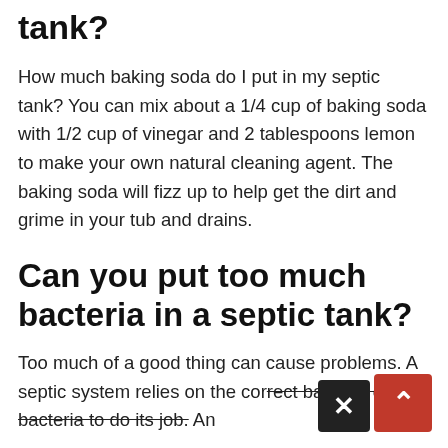tank?
How much baking soda do I put in my septic tank? You can mix about a 1/4 cup of baking soda with 1/2 cup of vinegar and 2 tablespoons lemon to make your own natural cleaning agent. The baking soda will fizz up to help get the dirt and grime in your tub and drains.
Can you put too much bacteria in a septic tank?
Too much of a good thing can cause problems. A septic system relies on the correct balance of bacteria to do its job. An